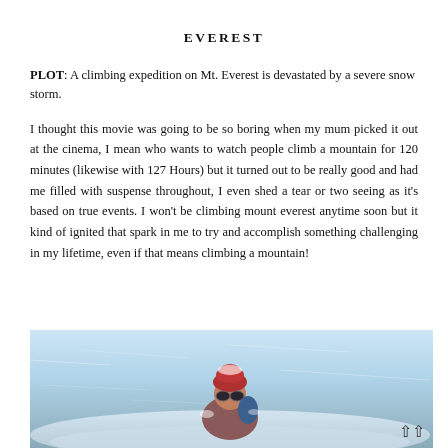EVEREST
PLOT: A climbing expedition on Mt. Everest is devastated by a severe snow storm.
I thought this movie was going to be so boring when my mum picked it out at the cinema, I mean who wants to watch people climb a mountain for 120 minutes (likewise with 127 Hours) but it turned out to be really good and had me filled with suspense throughout, I even shed a tear or two seeing as it's based on true events. I won't be climbing mount everest anytime soon but it kind of ignited that spark in me to try and accomplish something challenging in my lifetime, even if that means climbing a mountain!
[Figure (photo): A person in winter climbing gear (red patterned hat and goggles, heavy coat) in a snowy blizzard environment, presumably on Everest. Blue and white snowy background.]